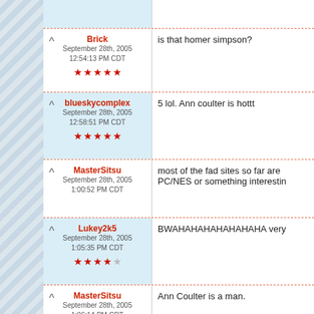[partial top row - clipped]
Brick
September 28th, 2005
12:54:13 PM CDT
★★★★★
is that homer simpson?
blueskycomplex
September 28th, 2005
12:58:51 PM CDT
★★★★★
5 lol. Ann coulter is hottt
MasterSitsu
September 28th, 2005
1:00:52 PM CDT
most of the fad sites so far are PC/NES or something interestin
Lukey2k5
September 28th, 2005
1:05:35 PM CDT
★★★★☆
BWAHAHAHAHAHAHAHA very
MasterSitsu
September 28th, 2005
1:06:14 PM CDT
Ann Coulter is a man.